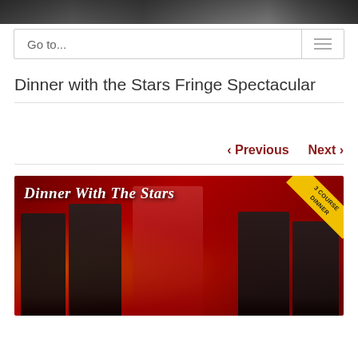[Figure (photo): Top banner photo showing musicians/performers, cropped at top of page]
Go to...
Dinner with the Stars Fringe Spectacular
< Previous   Next >
[Figure (photo): Promotional image for Dinner with the Stars event showing five performers in formal wear against a red bokeh background, with gold italic text 'Dinner With The Stars' and a yellow corner badge reading '3 Course Dinner']